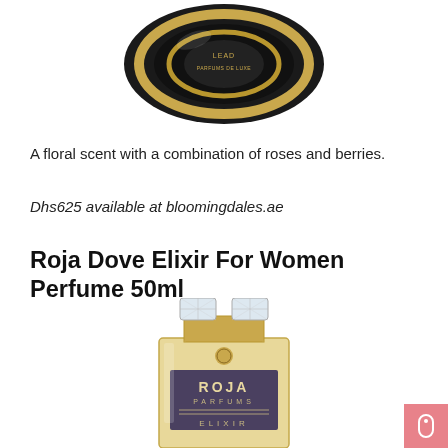[Figure (photo): Top portion of a black and gold perfume bottle cap/top, shown from above against white background]
A floral scent with a combination of roses and berries.
Dhs625 available at bloomingdales.ae
Roja Dove Elixir For Women Perfume 50ml
[Figure (photo): Roja Parfums Elixir perfume bottle with crystal jewel cap on a gold rectangular bottle body, partially cropped at bottom of page]